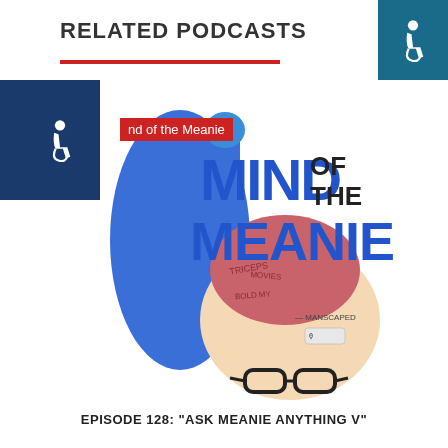RELATED PODCASTS
[Figure (illustration): Podcast cover art for 'Mind of the Meanie' showing a comic-style illustration of a person with blue hair lifting the top of their skull to reveal a brain with text inside. The title 'MIND OF THE MEANIE' is written in large blue letters. Sponsored by MANSCAPED logo visible.]
Mind of the Meanie
EPISODE 128: "ASK MEANIE ANYTHING V"